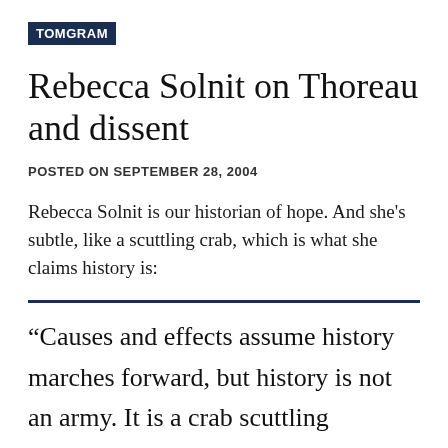TOMGRAM
Rebecca Solnit on Thoreau and dissent
POSTED ON SEPTEMBER 28, 2004
Rebecca Solnit is our historian of hope. And she's subtle, like a scuttling crab, which is what she claims history is:
“Causes and effects assume history marches forward, but history is not an army. It is a crab scuttling sideways, a drip of soft water wearing away stone, an earthquake breaking centuries of tension